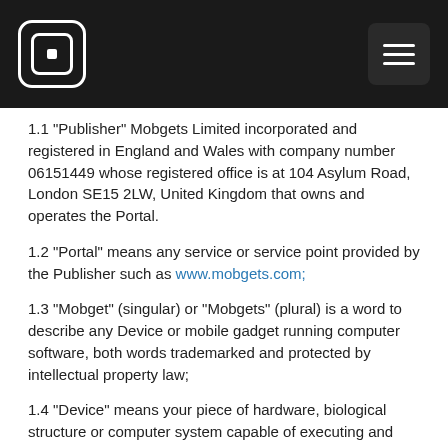Mobgets Limited — Navigation header with logo and menu
1.1 "Publisher" Mobgets Limited incorporated and registered in England and Wales with company number 06151449 whose registered office is at 104 Asylum Road, London SE15 2LW, United Kingdom that owns and operates the Portal.
1.2 "Portal" means any service or service point provided by the Publisher such as www.mobgets.com;
1.3 "Mobget" (singular) or "Mobgets" (plural) is a word to describe any Device or mobile gadget running computer software, both words trademarked and protected by intellectual property law;
1.4 "Device" means your piece of hardware, biological structure or computer system capable of executing and running software.
1.5 "Download" means the delivery of Products or Software to the Device;
1.6 "You" the licensee means the individual or organisation who agrees to buy Products and/or Services from the Publisher where